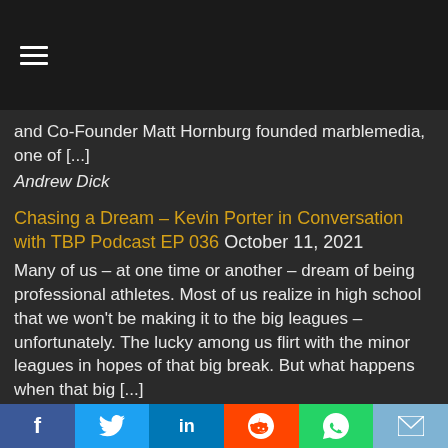≡ (hamburger menu)
and Co-Founder Matt Hornburg founded marblemedia, one of [...]
Andrew Dick
Chasing a Dream – Kevin Porter in Conversation with TBP Podcast EP 036 October 11, 2021
Many of us – at one time or another – dream of being professional athletes. Most of us realize in high school that we won't be making it to the big leagues – unfortunately. The lucky among us flirt with the minor leagues in hopes of that big break. But what happens when that big [...]
Andrew Dick
Being your Authentic Self – Richard Crouse in conversation with TBP Podcast EP 035 July 2, 2021
You would be given a free pass if you forgot that before the rise of the social media influencer there were already pundits and personalities on TV, radio and print. There's
f  🐦  in  🔴  📱  ✉